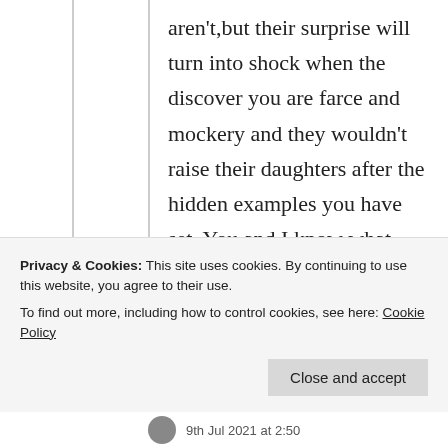aren't,but their surprise will turn into shock when the discover you are farce and mockery and they wouldn't raise their daughters after the hidden examples you have set. You and I know what they are!
★ Liked by 2 people
Privacy & Cookies: This site uses cookies. By continuing to use this website, you agree to their use. To find out more, including how to control cookies, see here: Cookie Policy
Close and accept
9th Jul 2021 at 2:50